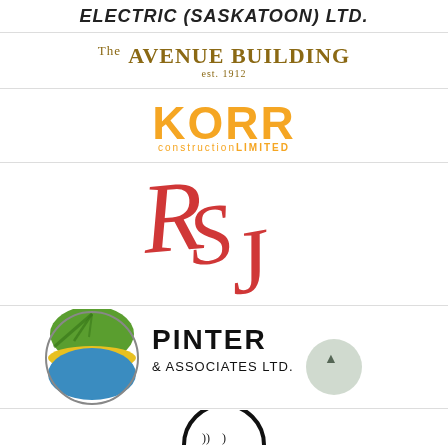[Figure (logo): ELECTRIC (SASKATOON) LTD. company name in bold italic uppercase text]
[Figure (logo): The AVENUE BUILDING est. 1912 logo in gold/dark yellow serif font]
[Figure (logo): KORR construction LIMITED logo with KORR in large orange bold font and constructionLIMITED in smaller orange text below]
[Figure (logo): RSJ decorative cursive/script red logo with interlocking R, S, J letters]
[Figure (logo): PINTER & ASSOCIATES LTD logo with colorful circular globe icon on left and company name in dark text on right]
[Figure (logo): Partial circular logo at bottom with dark arc and small bracket-like symbols]